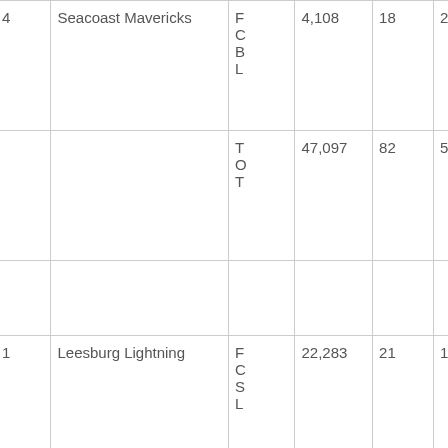| # | Team | League | Attendance | Games | Avg | Other |
| --- | --- | --- | --- | --- | --- | --- |
|  |  | B
L |  |  | 1 |  |
| 4 | Seacoast Mavericks | F
C
B
L | 4,108 | 18 | 228 |  |
|  |  | T
O
T | 47,097 | 82 | 574 |  |
|  |  |  |  |  |  |  |
| 1 | Leesburg Lightning | F
C
S
L | 22,283 | 21 | 1,081 | 9,011 |
| 2 | Sanford River Rats | F | 10 | 1 | 5 | 1,97 |